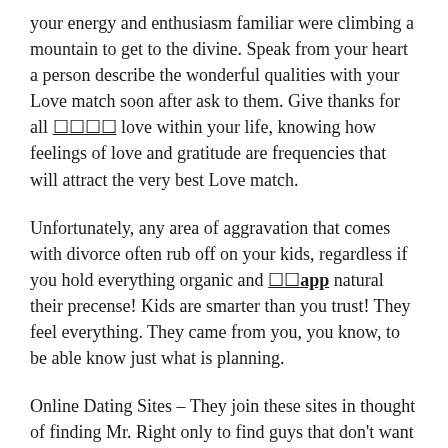your energy and enthusiasm familiar were climbing a mountain to get to the divine. Speak from your heart a person describe the wonderful qualities with your Love match soon after ask to them. Give thanks for all 🔲🔲🔲🔲 love within your life, knowing how feelings of love and gratitude are frequencies that will attract the very best Love match.
Unfortunately, any area of aggravation that comes with divorce often rub off on your kids, regardless if you hold everything organic and 🔲🔲app natural their precense! Kids are smarter than you trust! They feel everything. They came from you, you know, to be able know just what is planning.
Online Dating Sites – They join these sites in thought of finding Mr. Right only to find guys that don't want the same thing as them. The guys want to celebrate and use them commercially fun and sex.